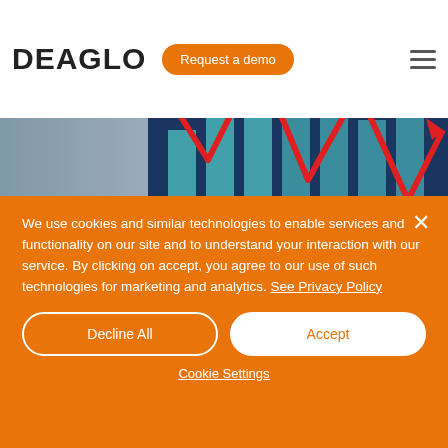DEAGLO
[Figure (illustration): Hero banner image showing a bar chart with a red declining arrow line and a person falling, on a dark blue background. Text overlay reads 'Are you prepared?']
Russia Vs Ukraine: What does this mean to me?
We use cookies and similar technologies to enable services and functionality on our site and to understand your interaction with our service. By clicking on accept, you agree to our use of such technologies for marketing and analytics. See Privacy Policy
Decline All
Accept
Cookie Settings